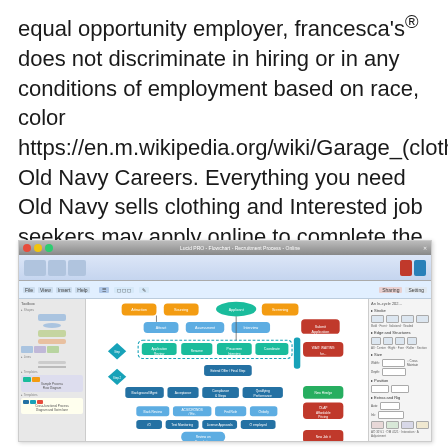equal opportunity employer, francesca's® does not discriminate in hiring or in any conditions of employment based on race, color https://en.m.wikipedia.org/wiki/Garage_(clothing_re Old Navy Careers. Everything you need Old Navy sells clothing and Interested job seekers may apply online to complete the Old Navy application process and.
[Figure (screenshot): Screenshot of a flowchart diagramming software (similar to Visio or Lucidchart) showing a complex process flowchart with orange, teal, cyan, blue, and red nodes connected by arrows, with left sidebar showing diagram elements and right sidebar showing shape properties.]